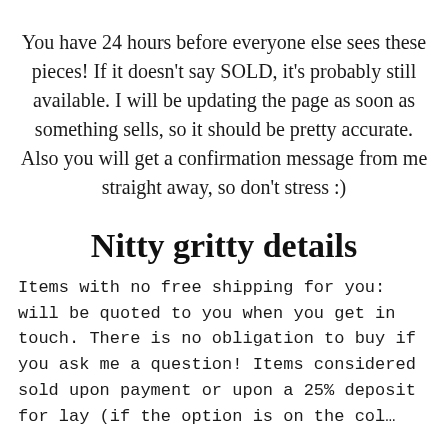You have 24 hours before everyone else sees these pieces! If it doesn’t say SOLD, it’s probably still available. I will be updating the page as soon as something sells, so it should be pretty accurate. Also you will get a confirmation message from me straight away, so don't stress :)
Nitty gritty details
Items with no free shipping for you: will be quoted to you when you get in touch. There is no obligation to buy if you ask me a question! Items considered sold upon payment or upon a 25% deposit for lay (if the option is on the col...